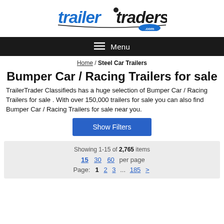[Figure (logo): trailer-traders.com logo in blue and black stylized text with .com badge]
☰ Menu
Home / Steel Car Trailers
Bumper Car / Racing Trailers for sale
TrailerTrader Classifieds has a huge selection of Bumper Car / Racing Trailers for sale . With over 150,000 trailers for sale you can also find Bumper Car / Racing Trailers for sale near you.
Show Filters
Showing 1-15 of 2,765 items
15 30 60 per page
Page: 1 2 3 ... 185 >